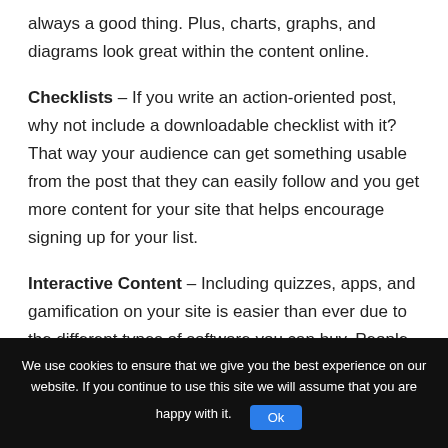always a good thing. Plus, charts, graphs, and diagrams look great within the content online.
Checklists – If you write an action-oriented post, why not include a downloadable checklist with it? That way your audience can get something usable from the post that they can easily follow and you get more content for your site that helps encourage signing up for your list.
Interactive Content – Including quizzes, apps, and gamification on your site is easier than ever due to the different types of software you can buy. People love taking an interesting test that will give them information
We use cookies to ensure that we give you the best experience on our website. If you continue to use this site we will assume that you are happy with it. Ok